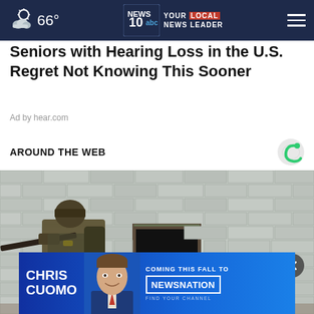66° NEWS 10 YOUR LOCAL NEWS LEADER
Seniors with Hearing Loss in the U.S. Regret Not Knowing This Sooner
Ad by hear.com
AROUND THE WEB
[Figure (photo): Soldier in military gear aiming weapon near a brick wall with a doorway]
[Figure (infographic): Advertisement banner: CHRIS CUOMO COMING THIS FALL TO NEWSNATION FIND YOUR CHANNEL]